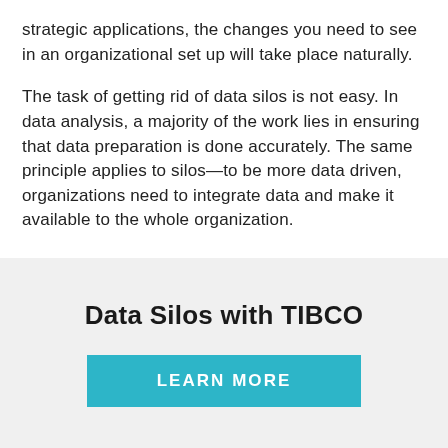strategic applications, the changes you need to see in an organizational set up will take place naturally.
The task of getting rid of data silos is not easy. In data analysis, a majority of the work lies in ensuring that data preparation is done accurately. The same principle applies to silos—to be more data driven, organizations need to integrate data and make it available to the whole organization.
Data Silos with TIBCO
LEARN MORE